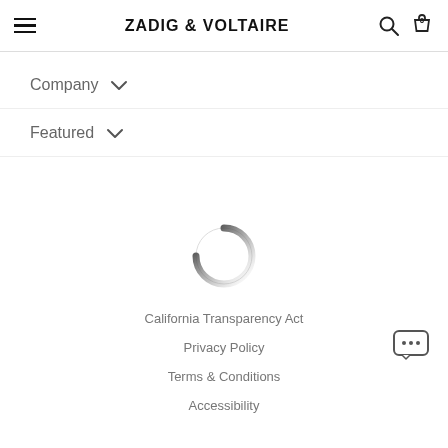ZADIG & VOLTAIRE
Company
Featured
[Figure (other): Circular loading spinner — dark arc on white circle, gradient from black to transparent]
California Transparency Act
Privacy Policy
Terms & Conditions
Accessibility
[Figure (other): Chat/message bubble icon with ellipsis, bottom right corner]